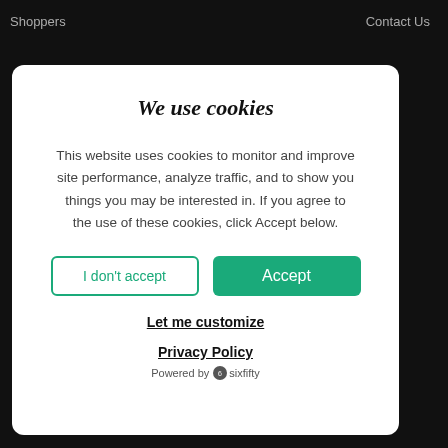Shoppers    Contact Us
We use cookies
This website uses cookies to monitor and improve site performance, analyze traffic, and to show you things you may be interested in. If you agree to the use of these cookies, click Accept below.
I don't accept | Accept
Let me customize
Privacy Policy
Powered by sixfifty